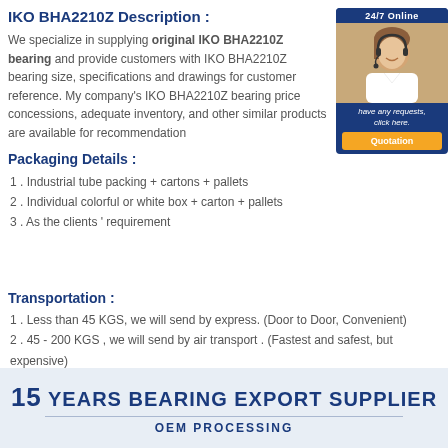IKO BHA2210Z Description :
We specialize in supplying original IKO BHA2210Z bearing and provide customers with IKO BHA2210Z bearing size, specifications and drawings for customer reference. My company's IKO BHA2210Z bearing price concessions, adequate inventory, and other similar products are available for recommendation
[Figure (photo): Customer service representative with headset, 24/7 Online banner, have any requests click here text, Quotation button]
Packaging Details :
1 . Industrial tube packing + cartons + pallets
2 . Individual colorful or white box + carton + pallets
3 . As the clients ' requirement
Transportation :
1 . Less than 45 KGS, we will send by express. (Door to Door, Convenient)
2 . 45 - 200 KGS , we will send by air transport . (Fastest and safest, but expensive)
3 . More than 200 KGS, we will send by sea . ( Cheapest and common use )
[Figure (infographic): 15 YEARS BEARING EXPORT SUPPLIER banner with OEM PROCESSING subtitle on light blue background]